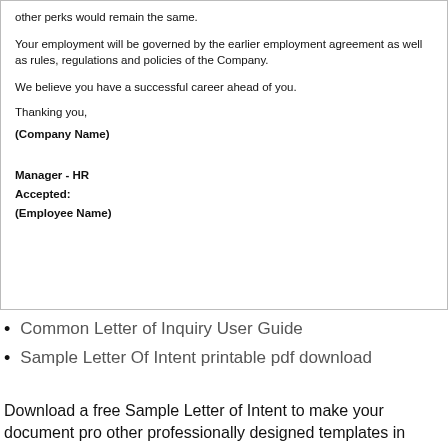other perks would remain the same.
Your employment will be governed by the earlier employment agreement as well as rules, regulations and policies of the Company.
We believe you have a successful career ahead of you.
Thanking you,
(Company Name)
Manager - HR
Accepted:
(Employee Name)
Common Letter of Inquiry User Guide
Sample Letter Of Intent printable pdf download
Download a free Sample Letter of Intent to make your document pro other professionally designed templates in TidyForm. Use to a site...